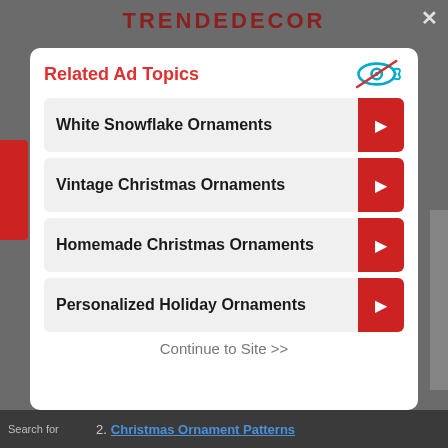TRENDEDECOR
Related Ad Topics
White Snowflake Ornaments
Vintage Christmas Ornaments
Homemade Christmas Ornaments
Personalized Holiday Ornaments
Continue to Site >>
Search for
2. Christmas Ornament Patterns